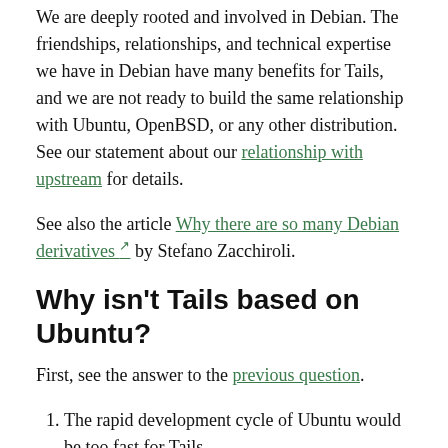We are deeply rooted and involved in Debian. The friendships, relationships, and technical expertise we have in Debian have many benefits for Tails, and we are not ready to build the same relationship with Ubuntu, OpenBSD, or any other distribution. See our statement about our relationship with upstream for details.
See also the article Why there are so many Debian derivatives by Stefano Zacchiroli.
Why isn't Tails based on Ubuntu?
First, see the answer to the previous question.
The rapid development cycle of Ubuntu would be too fast for Tails.
Ubuntu adds features in ways that we find dangerous for privacy. For example Ubuntu One (partly discontinued) and the Amazon ads and data leaks.
Ubuntu is led by a company that takes most of the...